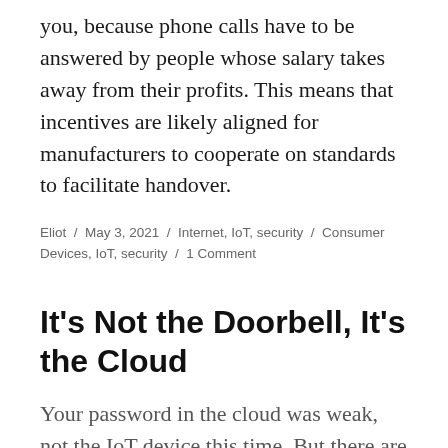you, because phone calls have to be answered by people whose salary takes away from their profits. This means that incentives are likely aligned for manufacturers to cooperate on standards to facilitate handover.
Eliot / May 3, 2021 / Internet, IoT, security / Consumer Devices, IoT, security / 1 Comment
It's Not the Doorbell, It's the Cloud
Your password in the cloud was weak, not the IoT device this time. But there are emerging IoT standards like DPP that can help do away with passwords